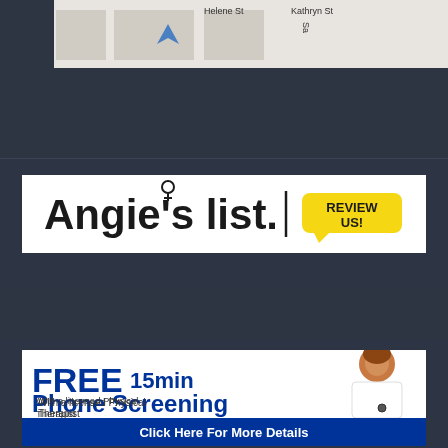[Figure (map): Street map showing Helene St, Kathryn St, and a location arrow marker]
[Figure (logo): Angie's List logo with 'Review Us!' speech bubble badge]
[Figure (infographic): Advertisement for FREE 15min Phone Screening with a licensed Physical Therapist, featuring a doctor photo and 'Click Here For More Details' blue button]